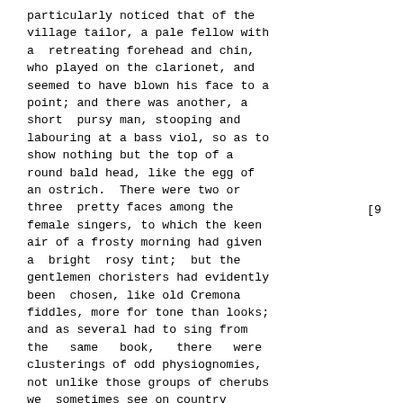particularly noticed that of the village tailor, a pale fellow with a retreating forehead and chin, who played on the clarionet, and seemed to have blown his face to a point; and there was another, a short pursy man, stooping and labouring at a bass viol, so as to show nothing but the top of a round bald head, like the egg of an ostrich. There were two or three pretty faces among the female singers, to which the keen air of a frosty morning had given a bright rosy tint; but the gentlemen choristers had evidently been chosen, like old Cremona fiddles, more for tone than looks; and as several had to sing from the same book, there were clusterings of odd physiognomies, not unlike those groups of cherubs we sometimes see on country tombstones.
[9